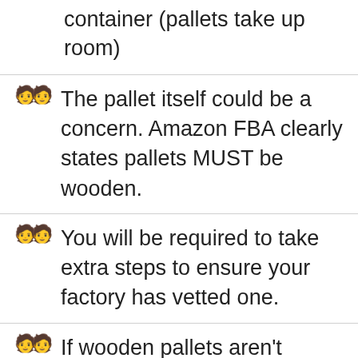container (pallets take up room)
The pallet itself could be a concern. Amazon FBA clearly states pallets MUST be wooden.
You will be required to take extra steps to ensure your factory has vetted one.
If wooden pallets aren't properly treated and fumigated, they could arrive in your FBA country either